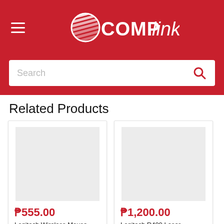[Figure (logo): COMPlink logo with hamburger menu icon on red header background]
Search
Related Products
₱555.00
Logitech Wireless Mouse M185 -
₱1,200.00
Logitech R400 Laser Presentation